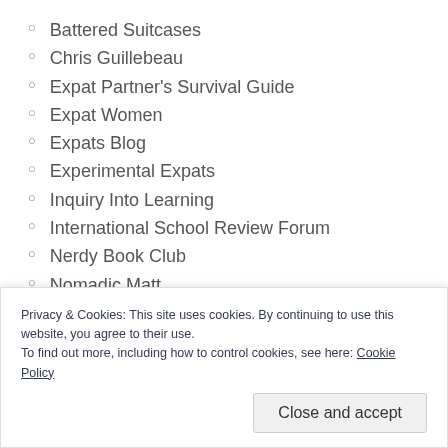Battered Suitcases
Chris Guillebeau
Expat Partner's Survival Guide
Expat Women
Expats Blog
Experimental Expats
Inquiry Into Learning
International School Review Forum
Nerdy Book Club
Nomadic Matt
Runaway Brit
Privacy & Cookies: This site uses cookies. By continuing to use this website, you agree to their use. To find out more, including how to control cookies, see here: Cookie Policy
Close and accept